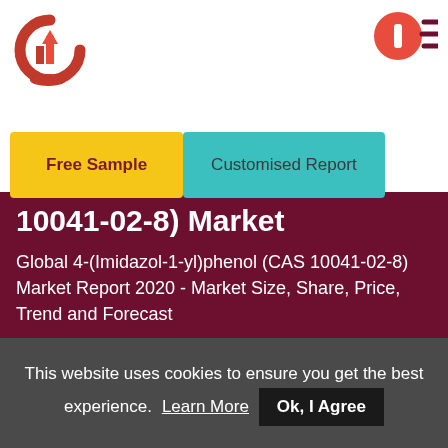[Figure (logo): Red circular logo with bar chart icon on the left side of the header]
[Figure (logo): Red circular icon with menu lines on the right side of the header]
Free Sample
Customised Report
10041-02-8) Market
Global 4-(Imidazol-1-yl)phenol (CAS 10041-02-8) Market Report 2020 - Market Size, Share, Price, Trend and Forecast
SR563001  |  09-Apr-2021  |  103 Pages  |  Prof Research  |
Free Sample
This website uses cookies to ensure you get the best experience.
Learn More
Ok, I Agree